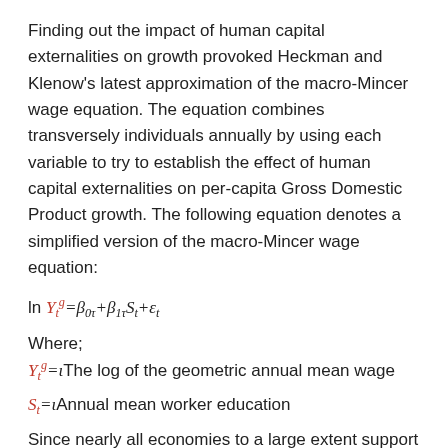Finding out the impact of human capital externalities on growth provoked Heckman and Klenow's latest approximation of the macro-Mincer wage equation. The equation combines transversely individuals annually by using each variable to try to establish the effect of human capital externalities on per-capita Gross Domestic Product growth. The following equation denotes a simplified version of the macro-Mincer wage equation:
Where;
Y_t^g = i The log of the geometric annual mean wage
S_t = i Annual mean worker education
Since nearly all economies to a large extent support financially human capital investments, the intention of